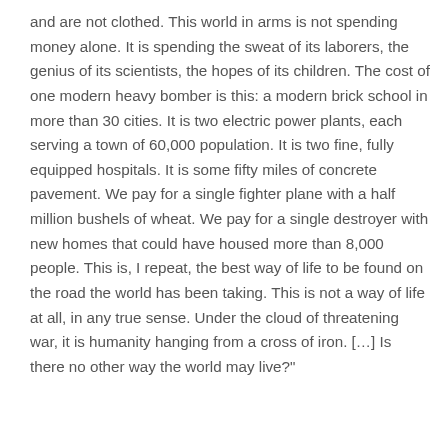and are not clothed. This world in arms is not spending money alone. It is spending the sweat of its laborers, the genius of its scientists, the hopes of its children. The cost of one modern heavy bomber is this: a modern brick school in more than 30 cities. It is two electric power plants, each serving a town of 60,000 population. It is two fine, fully equipped hospitals. It is some fifty miles of concrete pavement. We pay for a single fighter plane with a half million bushels of wheat. We pay for a single destroyer with new homes that could have housed more than 8,000 people. This is, I repeat, the best way of life to be found on the road the world has been taking. This is not a way of life at all, in any true sense. Under the cloud of threatening war, it is humanity hanging from a cross of iron. […] Is there no other way the world may live?"